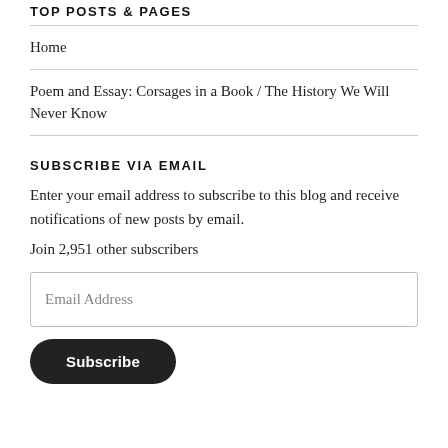TOP POSTS & PAGES
Home
Poem and Essay: Corsages in a Book / The History We Will Never Know
SUBSCRIBE VIA EMAIL
Enter your email address to subscribe to this blog and receive notifications of new posts by email.
Join 2,951 other subscribers